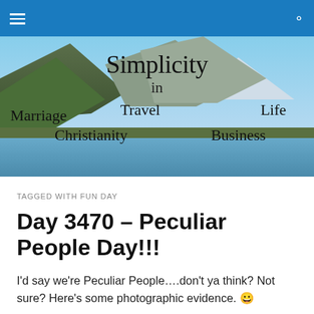Navigation bar with menu and search icons
[Figure (illustration): Blog header banner with mountain lake landscape background. Text overlay reads 'Simplicity in' at top center, with category labels: Marriage, Travel, Life, Christianity, Business arranged across the image.]
TAGGED WITH FUN DAY
Day 3470 – Peculiar People Day!!!
I'd say we're Peculiar People….don't ya think? Not sure? Here's some photographic evidence. 😀